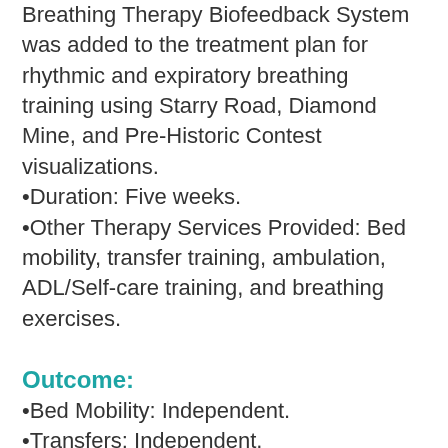Breathing Therapy Biofeedback System was added to the treatment plan for rhythmic and expiratory breathing training using Starry Road, Diamond Mine, and Pre-Historic Contest visualizations.
Duration: Five weeks.
Other Therapy Services Provided: Bed mobility, transfer training, ambulation, ADL/Self-care training, and breathing exercises.
Outcome:
Bed Mobility: Independent.
Transfers: Independent.
Self-Care: Independent for upper and lower body dressing, bathing, and toileting.
Ambulation: 250 feet with a rolling walker; ascend and descend 1 flight of stairs with close supervision.
This woman is very pleased with her outcomes in therapy and is going home much sooner than she expected! She reports breathing exercises with